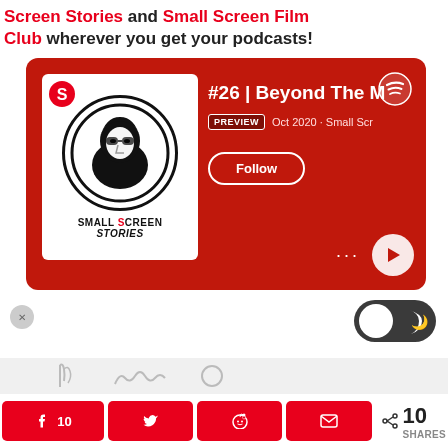Screen Stories and Small Screen Film Club wherever you get your podcasts!
[Figure (screenshot): Spotify embed player card showing Small Screen Stories podcast, episode #26 | Beyond The B... Preview badge, Oct 2020 · Small Scr..., Follow button, Spotify logo, play button]
[Figure (other): Dark mode toggle switch (light/dark)]
[Figure (infographic): Social share buttons row: Facebook (10), Twitter, Reddit, Email, and share count showing 10 SHARES]